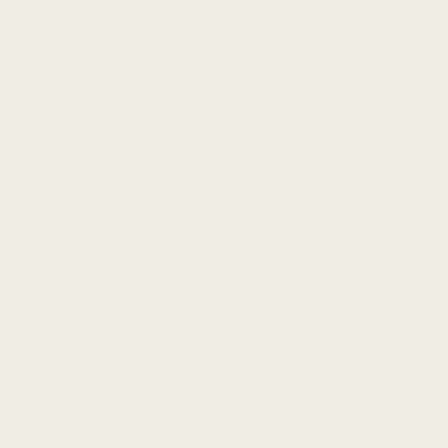e-tender for the Supply of Steel Cot at K
Improvement of MailoothPulathThachur
Karimbanassery SC Colony Bhavana Su
etender for the Supply of Furniture and
Office Modernization works at Trivandru
e-tender for the Supply and Installation
e-tender for the Supply of Wooden Cot a
e-tender for Supply of Wooden Cot at Ch
E-Tender for Supply, Delivery, Installation a
Supply, Delivery, Installation and Commiss
E-Tender for Supply, Delivery, Installation a
E-Tender for Supply, Delivery, Installation Pappanamcode)
Inviting Sealed Tender for The Supply of Co
Quotation for Transportation of TTPLprodu
e Tender for the partition work at Thiruvana
Inviting Sealed Tender for the Supply of Ra
Sealed two bid system tenders invited for th